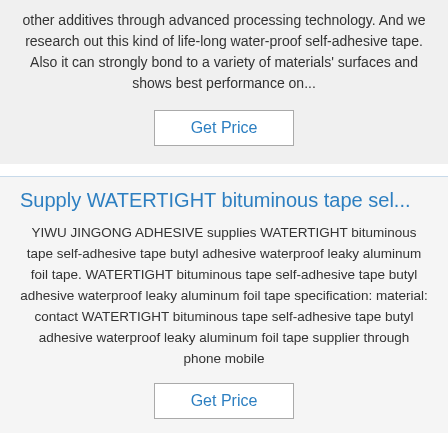other additives through advanced processing technology. And we research out this kind of life-long water-proof self-adhesive tape. Also it can strongly bond to a variety of materials' surfaces and shows best performance on...
Get Price
Supply WATERTIGHT bituminous tape sel...
YIWU JINGONG ADHESIVE supplies WATERTIGHT bituminous tape self-adhesive tape butyl adhesive waterproof leaky aluminum foil tape. WATERTIGHT bituminous tape self-adhesive tape butyl adhesive waterproof leaky aluminum foil tape specification: material: contact WATERTIGHT bituminous tape self-adhesive tape butyl adhesive waterproof leaky aluminum foil tape supplier through phone mobile
Get Price